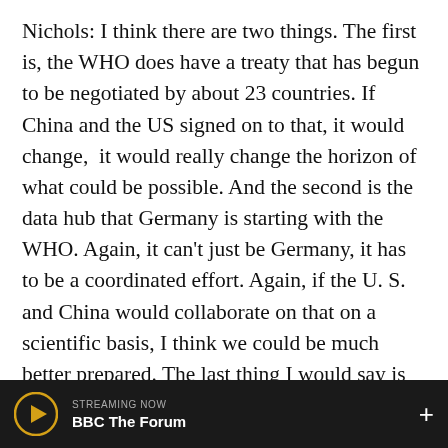Nichols: I think there are two things. The first is, the WHO does have a treaty that has begun to be negotiated by about 23 countries. If China and the US signed on to that, it would change,  it would really change the horizon of what could be possible. And the second is the data hub that Germany is starting with the WHO. Again, it can't just be Germany, it has to be a coordinated effort. Again, if the U. S. and China would collaborate on that on a scientific basis, I think we could be much better prepared. The last thing I would say is nationally, in the United States, in the White House, you know, pandemic preparedness under Obama was a official task force and funded etcetera and was taken apart under the Trump administration, that need, I think President biden is
STREAMING NOW
BBC The Forum